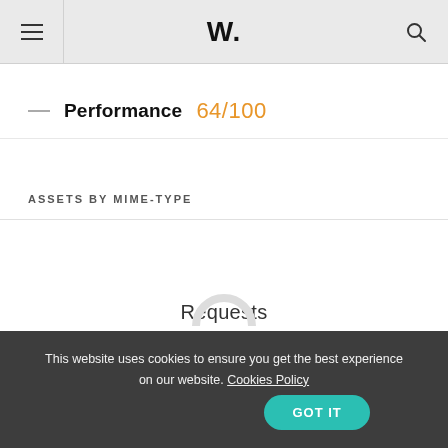W.
Performance 64/100
ASSETS BY MIME-TYPE
Requests
This website uses cookies to ensure you get the best experience on our website. Cookies Policy GOT IT